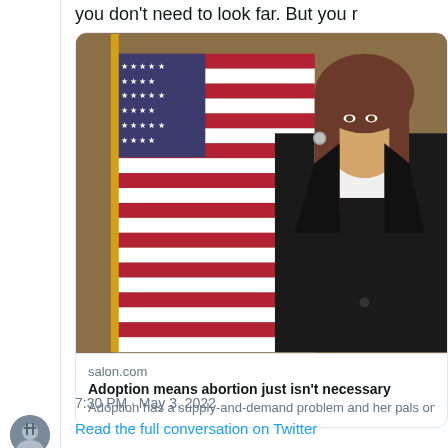you don't need to look far. But you r
[Figure (photo): Woman in black blazer and white blouse standing in front of American flag, formal portrait style photo]
salon.com
Adoption means abortion just isn't necessary
Adoption has a supply-and-demand problem and her pals on the Supreme Court have the
7:30 PM · May 3, 2022
[Figure (photo): Small circular avatar of a person]
Read the full conversation on Twitter